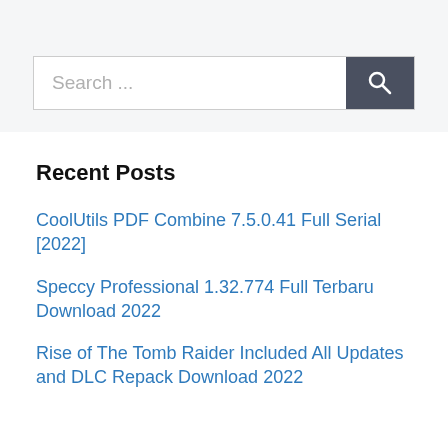[Figure (other): Search bar with text input field showing placeholder 'Search ...' and a dark grey search button with magnifying glass icon]
Recent Posts
CoolUtils PDF Combine 7.5.0.41 Full Serial [2022]
Speccy Professional 1.32.774 Full Terbaru Download 2022
Rise of The Tomb Raider Included All Updates and DLC Repack Download 2022